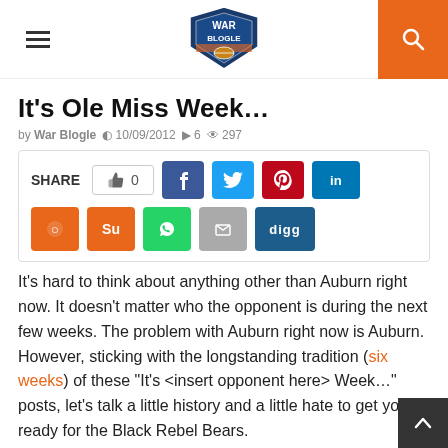War Blogle
It's Ole Miss Week…
by War Blogle  10/09/2012  6  297
[Figure (infographic): Social share bar with like count (0), Facebook, Twitter, Pinterest, LinkedIn, Reddit, StumbleUpon, WhatsApp, Email, and Digg buttons]
It's hard to think about anything other than Auburn right now. It doesn't matter who the opponent is during the next few weeks. The problem with Auburn right now is Auburn. However, sticking with the longstanding tradition (six weeks) of these "It's <insert opponent here> Week…" posts, let's talk a little history and a little hate to get you ready for the Black Rebel Bears.
Auburn and Ole Miss have